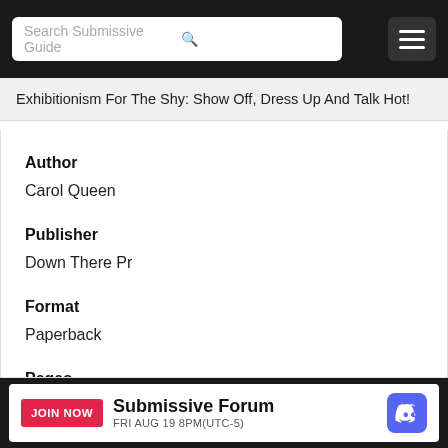Search Submissive Guide
Exhibitionism For The Shy: Show Off, Dress Up And Talk Hot!
Author
Carol Queen
Publisher
Down There Pr
Format
Paperback
Pages
0
JOIN NOW  Submissive Forum  FRI AUG 19 8PM(UTC-5)